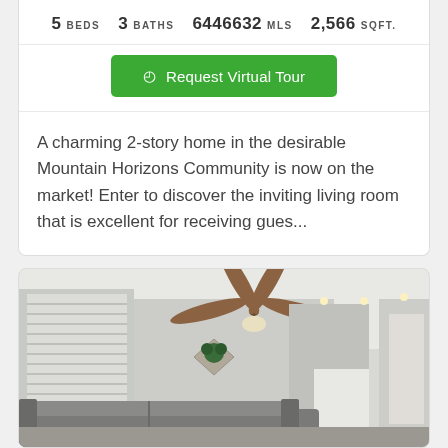5 BEDS   3 BATHS   6446632 MLS   2,566 SQFT.
Request Virtual Tour
A charming 2-story home in the desirable Mountain Horizons Community is now on the market! Enter to discover the inviting living room that is excellent for receiving gues...
[Figure (photo): Interior photo of a modern living room with a ceiling fan, gray sofa, decorative wall art, open floor plan showing kitchen area in background, recessed lighting, and large windows with blinds.]